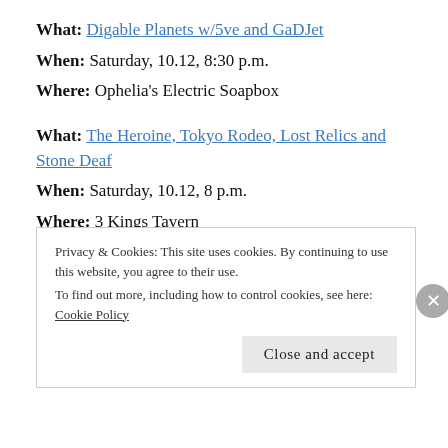What: Digable Planets w/5ve and GaDJet
When: Saturday, 10.12, 8:30 p.m.
Where: Ophelia's Electric Soapbox
What: The Heroine, Tokyo Rodeo, Lost Relics and Stone Deaf
When: Saturday, 10.12, 8 p.m.
Where: 3 Kings Tavern
What: Heavy Shit at Streets: Messiahvore, Never Kenezzard, Sounds Like Words, Audio Dream Sister
Privacy & Cookies: This site uses cookies. By continuing to use this website, you agree to their use.
To find out more, including how to control cookies, see here: Cookie Policy